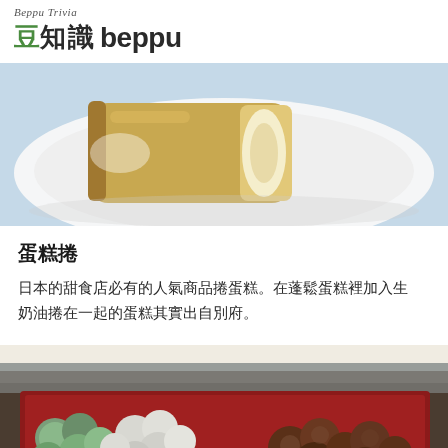Beppu Trivia 豆知識 beppu
[Figure (photo): Close-up photo of a Swiss roll / rolled sponge cake on a white plate, showing the cream filling inside]
蛋糕捲
日本的甜食店必有的人氣商品捲蛋糕。在蓬鬆蛋糕裡加入生奶油捲在一起的蛋糕其實出自別府。
[Figure (photo): Display case with various chocolate and matcha-coated confections/truffles arranged in trays in a sweet shop]